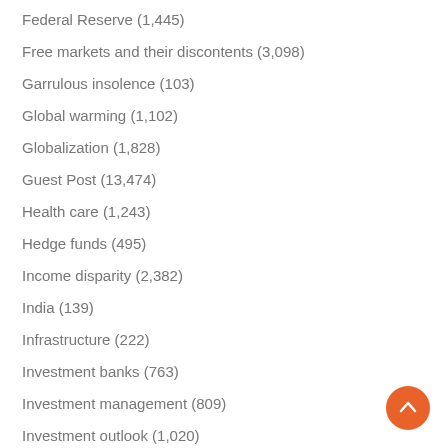Federal Reserve (1,445)
Free markets and their discontents (3,098)
Garrulous insolence (103)
Global warming (1,102)
Globalization (1,828)
Guest Post (13,474)
Health care (1,243)
Hedge funds (495)
Income disparity (2,382)
India (139)
Infrastructure (222)
Investment banks (763)
Investment management (809)
Investment outlook (1,020)
Japan (240)
Legal (2,848)